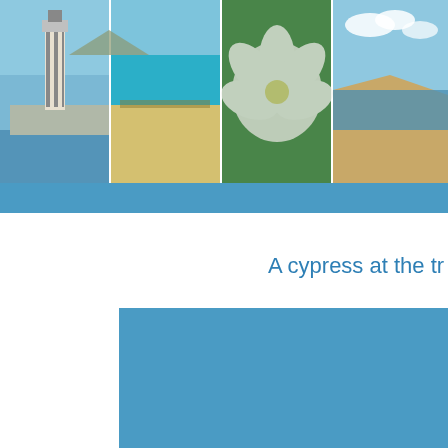[Figure (photo): Four horizontal photo panels: lighthouse on sea wall, sandy beach with turquoise water, white flower close-up, coastal cliffs]
A cypress at the tr